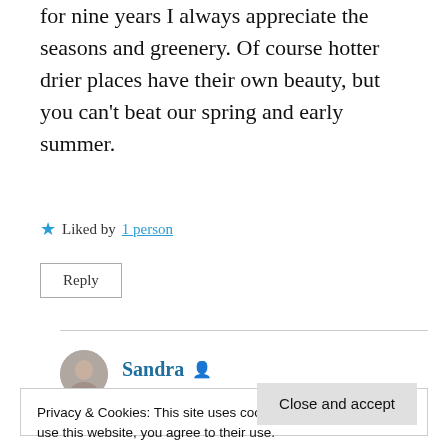for nine years I always appreciate the seasons and greenery. Of course hotter drier places have their own beauty, but you can't beat our spring and early summer.
★ Liked by 1 person
Reply
Sandra 👤
Privacy & Cookies: This site uses cookies. By continuing to use this website, you agree to their use.
To find out more, including how to control cookies, see here:
Cookie Policy
Close and accept
jaded. This lush verdancy is fleeting 🙂